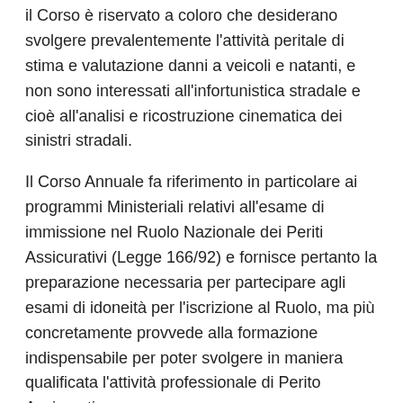il Corso è riservato a coloro che desiderano svolgere prevalentemente l'attività peritale di stima e valutazione danni a veicoli e natanti, e non sono interessati all'infortunistica stradale e cioè all'analisi e ricostruzione cinematica dei sinistri stradali.
Il Corso Annuale fa riferimento in particolare ai programmi Ministeriali relativi all'esame di immissione nel Ruolo Nazionale dei Periti Assicurativi (Legge 166/92) e fornisce pertanto la preparazione necessaria per partecipare agli esami di idoneità per l'iscrizione al Ruolo, ma più concretamente provvede alla formazione indispensabile per poter svolgere in maniera qualificata l'attività professionale di Perito Assicurativo.
[Figure (other): Broken/missing image placeholder labeled page1image15032]
DURATA :